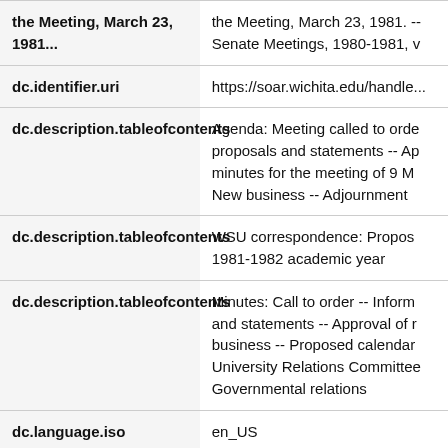| Field | Value |
| --- | --- |
| dc.identifier.uri | https://soar.wichita.edu/handle... |
| dc.description.tableofcontents | Agenda: Meeting called to orde... proposals and statements -- Ap... minutes for the meeting of 9 M... New business -- Adjournment |
| dc.description.tableofcontents | WSU correspondence: Propos... 1981-1982 academic year |
| dc.description.tableofcontents | Minutes: Call to order -- Inform... and statements -- Approval of r... business -- Proposed calendar... University Relations Committee... Governmental relations |
| dc.language.iso | en_US |
| dc.publisher | Wichita State University |
| dc.relation.ispartofseries | Wichita State University, Unive... |